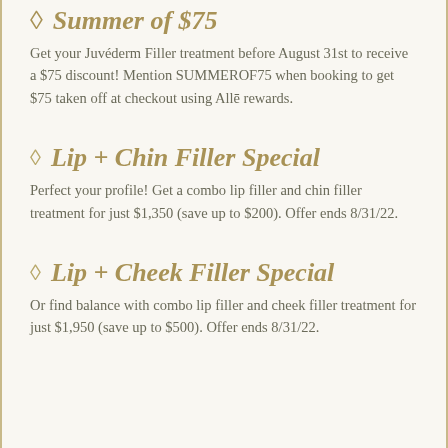♢ Summer of $75
Get your Juvéderm Filler treatment before August 31st to receive a $75 discount! Mention SUMMEROF75 when booking to get $75 taken off at checkout using Allē rewards.
◇ Lip + Chin Filler Special
Perfect your profile! Get a combo lip filler and chin filler treatment for just $1,350 (save up to $200). Offer ends 8/31/22.
◇ Lip + Cheek Filler Special
Or find balance with combo lip filler and cheek filler treatment for just $1,950 (save up to $500). Offer ends 8/31/22.